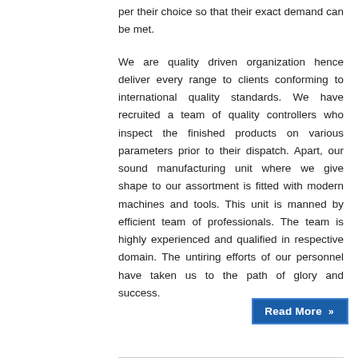per their choice so that their exact demand can be met.
We are quality driven organization hence deliver every range to clients conforming to international quality standards. We have recruited a team of quality controllers who inspect the finished products on various parameters prior to their dispatch. Apart, our sound manufacturing unit where we give shape to our assortment is fitted with modern machines and tools. This unit is manned by efficient team of professionals. The team is highly experienced and qualified in respective domain. The untiring efforts of our personnel have taken us to the path of glory and success.